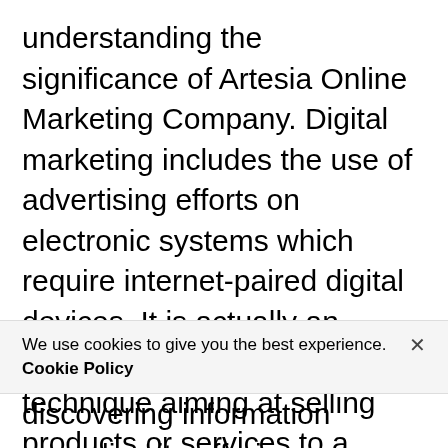understanding the significance of Artesia Online Marketing Company. Digital marketing includes the use of advertising efforts on electronic systems which require internet-paired digital devices. It is actually an advertising and marketing technique aiming at selling products or services to a targeted audience, with the aid of on the internet systems and also electronic gadgets - such as mobile phones and also computer systems. Today, a lot of variety of customers
We use cookies to give you the best experience. Cookie Policy
discovering information regarding its offerings